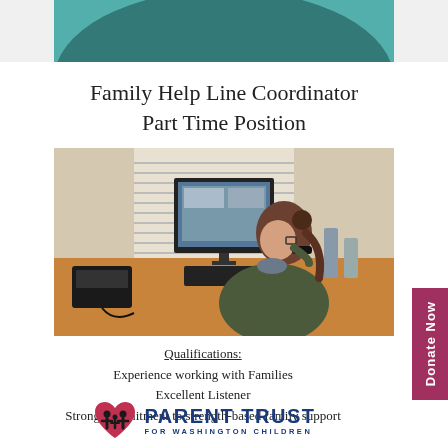[Figure (photo): Cropped top photo showing a person in a teal shirt, partially visible at the top of the page]
Family Help Line Coordinator
Part Time Position
[Figure (photo): Woman sitting at a desk in an office, talking on a phone, with a computer monitor visible in the background]
Qualifications:
Experience working with Families
Excellent Listener
Strong commitment to strength-based family support
[Figure (logo): Parent Trust for Washington Children logo: a red heart with family figures inside, next to bold blue text reading PARENT TRUST FOR WASHINGTON CHILDREN]